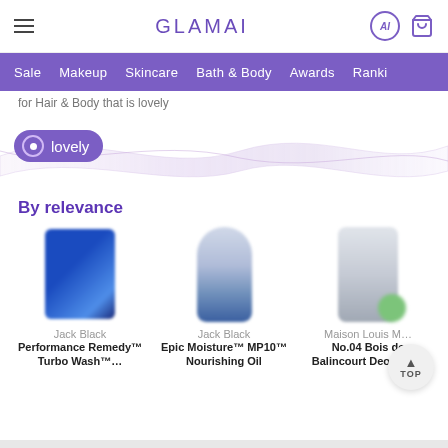GLAMAI — Sale  Makeup  Skincare  Bath & Body  Awards  Ranki…
for Hair & Body that is lovely
[Figure (screenshot): Purple pill/tag with radio-button icon and text 'lovely', overlaid on a decorative wave ribbon graphic]
By relevance
[Figure (photo): Jack Black Performance Remedy™ Turbo Wash™ product image (blue tube, blurred)]
Jack Black
Performance Remedy™ Turbo Wash™…
[Figure (photo): Jack Black Epic Moisture™ MP10™ Nourishing Oil product image (dropper bottle, blurred)]
Jack Black
Epic Moisture™ MP10™ Nourishing Oil
[Figure (photo): Maison Louis M… No.04 Bois de Balincourt Deodorant product image (white bottle with green cap, blurred)]
Maison Louis M…
No.04 Bois de Balincourt Deodorant